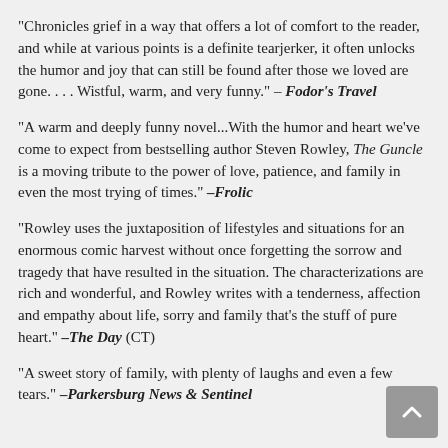"Chronicles grief in a way that offers a lot of comfort to the reader, and while at various points is a definite tearjerker, it often unlocks the humor and joy that can still be found after those we loved are gone. . . . Wistful, warm, and very funny." – Fodor's Travel
"A warm and deeply funny novel...With the humor and heart we've come to expect from bestselling author Steven Rowley, The Guncle is a moving tribute to the power of love, patience, and family in even the most trying of times." –Frolic
"Rowley uses the juxtaposition of lifestyles and situations for an enormous comic harvest without once forgetting the sorrow and tragedy that have resulted in the situation. The characterizations are rich and wonderful, and Rowley writes with a tenderness, affection and empathy about life, sorry and family that's the stuff of pure heart." –The Day (CT)
"A sweet story of family, with plenty of laughs and even a few tears." –Parkersburg News & Sentinel